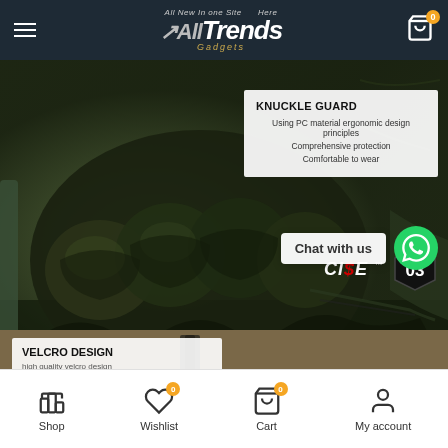AllTrends Gadgets — All New In one Site Here
[Figure (photo): Close-up of tactical glove knuckle guard with KNUCKLE GUARD info overlay showing: Using PC material ergonomic design principles, Comprehensive protection, Comfortable to wear. CISE brand logo and 03 badge visible. Chat with us WhatsApp button overlay.]
[Figure (photo): Lower portion of product image showing VELCRO DESIGN section with info box: high quality velcro design. Scroll-up arrow button visible.]
Shop  Wishlist 0  Cart 0  My account